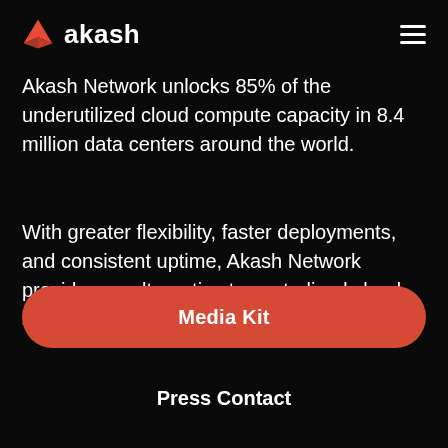akash
Akash Network unlocks 85% of the underutilized cloud compute capacity in 8.4 million data centers around the world.
With greater flexibility, faster deployments, and consistent uptime, Akash Network provides an alternative to centralized cloud services.
Media Kit
Press Contact